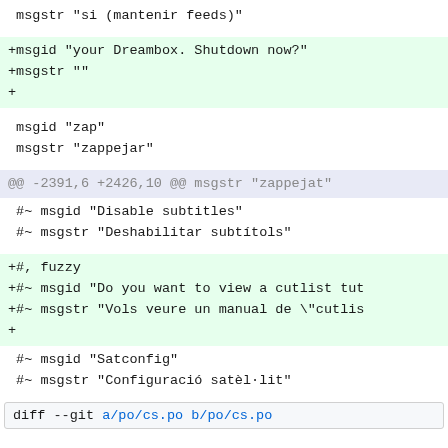msgstr "si (mantenir feeds)"
+msgid "your Dreambox. Shutdown now?"
+msgstr ""
+
msgid "zap"
 msgstr "zappejar"
@@ -2391,6 +2426,10 @@ msgstr "zappejat"
#~ msgid "Disable subtitles"
 #~ msgstr "Deshabilitar subtítols"
+#, fuzzy
+#~ msgid "Do you want to view a cutlist tut
+#~ msgstr "Vols veure un manual de \"cutlis
+
#~ msgid "Satconfig"
 #~ msgstr "Configuració satèl·lit"
diff --git a/po/cs.po b/po/cs.po